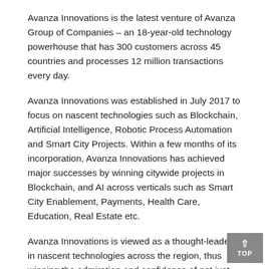Avanza Innovations is the latest venture of Avanza Group of Companies – an 18-year-old technology powerhouse that has 300 customers across 45 countries and processes 12 million transactions every day.
Avanza Innovations was established in July 2017 to focus on nascent technologies such as Blockchain, Artificial Intelligence, Robotic Process Automation and Smart City Projects. Within a few months of its incorporation, Avanza Innovations has achieved major successes by winning citywide projects in Blockchain, and AI across verticals such as Smart City Enablement, Payments, Health Care, Education, Real Estate etc.
Avanza Innovations is viewed as a thought-leader in nascent technologies across the region, thus winning the admiration and confidence of not just customers but also of industry partners such as Microsoft, Gartner, IBM, regulators and government entities.